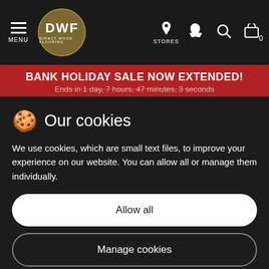[Figure (screenshot): Direct Wood Flooring (DWF) website navigation bar with hamburger menu, logo, stores icon, phone icon, search icon, and cart icon on dark background]
BANK HOLIDAY SALE NOW EXTENDED!
Ends in 1 day, 7 hours, 47 minutes, 3 seconds
Our cookies
We use cookies, which are small text files, to improve your experience on our website. You can allow all or manage them individually.
Allow all
Manage cookies
BESTSELLER